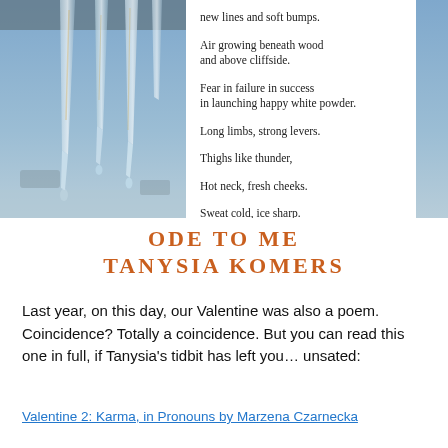[Figure (photo): Photo of icicles hanging in front of a blurred blue background, occupying the left portion of the top half of the page.]
new lines and soft bumps.
Air growing beneath wood
and above cliffside.
Fear in failure in success
in launching happy white powder.
Long limbs, strong levers.
Thighs like thunder,
Hot neck, fresh cheeks.
Sweat cold, ice sharp.
ODE TO ME
TANYSIA KOMERS
Last year, on this day, our Valentine was also a poem. Coincidence? Totally a coincidence. But you can read this one in full, if Tanysia's tidbit has left you… unsated:
Valentine 2: Karma, in Pronouns by Marzena Czarnecka